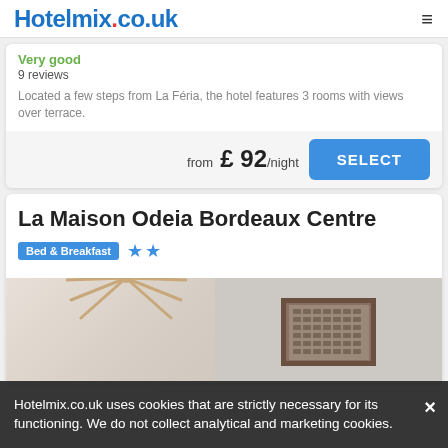Hotelmix.co.uk
Very good
9 reviews
Located a few steps from La Féria, the hotel features 3 rooms with views over terrace.
from £ 92/night
SELECT
La Maison Odeia Bordeaux Centre
Bed & Breakfast ★★
[Figure (photo): Hotel room interior photo showing a decorative gold sunburst wall decoration on the left and a framed artwork/calendar on the right wall with neutral tones]
Hotelmix.co.uk uses cookies that are strictly necessary for its functioning. We do not collect analytical and marketing cookies.